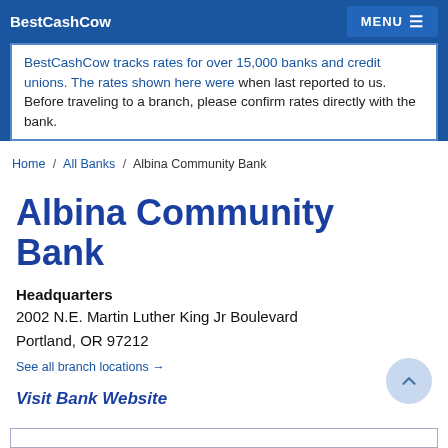BestCashCow  MENU
BestCashCow tracks rates for over 15,000 banks and credit unions. The rates shown here were when last reported to us. Before traveling to a branch, please confirm rates directly with the bank.
Home / All Banks / Albina Community Bank
Albina Community Bank
Headquarters
2002 N.E. Martin Luther King Jr Boulevard
Portland, OR 97212
See all branch locations →
Visit Bank Website